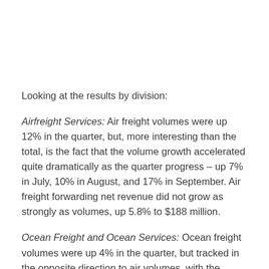Looking at the results by division:
Airfreight Services: Air freight volumes were up 12% in the quarter, but, more interesting than the total, is the fact that the volume growth accelerated quite dramatically as the quarter progress – up 7% in July, 10% in August, and 17% in September. Air freight forwarding net revenue did not grow as strongly as volumes, up 5.8% to $188 million.
Ocean Freight and Ocean Services: Ocean freight volumes were up 4% in the quarter, but tracked in the opposite direction to air volumes, with the strongest